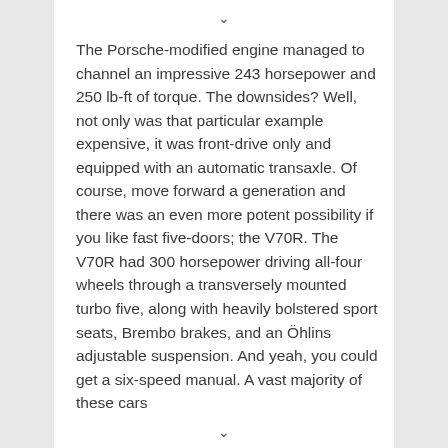The Porsche-modified engine managed to channel an impressive 243 horsepower and 250 lb-ft of torque. The downsides? Well, not only was that particular example expensive, it was front-drive only and equipped with an automatic transaxle. Of course, move forward a generation and there was an even more potent possibility if you like fast five-doors; the V70R. The V70R had 300 horsepower driving all-four wheels through a transversely mounted turbo five, along with heavily bolstered sport seats, Brembo brakes, and an Öhlins adjustable suspension. And yeah, you could get a six-speed manual. A vast majority of these cars